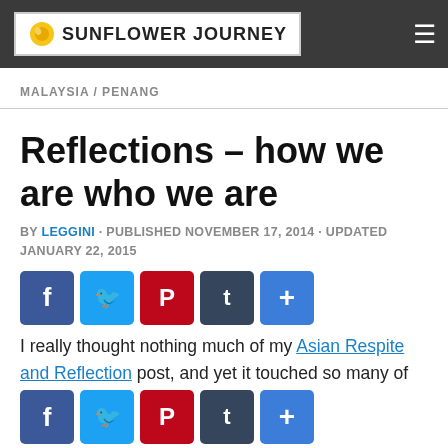Sunflower Journey
MALAYSIA / PENANG
Reflections – how we are who we are
BY LEGGINI · PUBLISHED NOVEMBER 17, 2014 · UPDATED JANUARY 22, 2015
[Figure (infographic): Social sharing icons: Facebook (blue), Twitter (light blue), Pinterest (red), Tumblr (dark blue-grey), Share/Add (blue)]
I really thought nothing much of my Asian Respite and Reflection post, and yet it touched so many of you. I wrote what I normally don't let
[Figure (infographic): Second row of social sharing icons at bottom of page: Facebook, Twitter, Pinterest, Tumblr, Share]